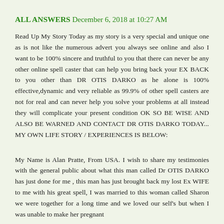ALL ANSWERS  December 6, 2018 at 10:27 AM
Read Up My Story Today as my story is a very special and unique one as is not like the numerous advert you always see online and also I want to be 100% sincere and truthful to you that there can never be any other online spell caster that can help you bring back your EX BACK to you other than DR OTIS DARKO as he alone is 100% effective,dynamic and very reliable as 99.9% of other spell casters are not for real and can never help you solve your problems at all instead they will complicate your present condition OK SO BE WISE AND ALSO BE WARNED AND CONTACT DR OTIS DARKO TODAY... MY OWN LIFE STORY / EXPERIENCES IS BELOW:
My Name is Alan Pratte, From USA. I wish to share my testimonies with the general public about what this man called Dr OTIS DARKO has just done for me , this man has just brought back my lost Ex WIFE to me with his great spell, I was married to this woman called Sharon we were together for a long time and we loved our self's but when I was unable to make her pregnant for several duration she had been she had left me and told her and